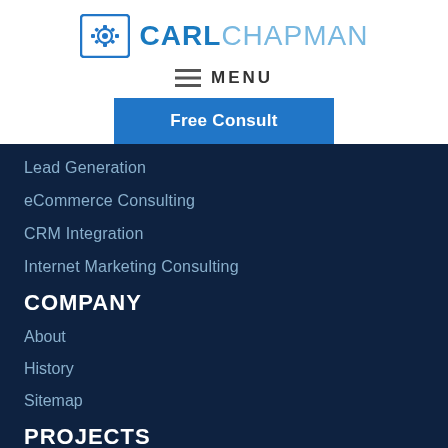[Figure (logo): Carl Chapman logo with gear icon in blue square border and text CARLCHAPMAN]
MENU
Free Consult
Lead Generation
eCommerce Consulting
CRM Integration
Internet Marketing Consulting
COMPANY
About
History
Sitemap
PROJECTS